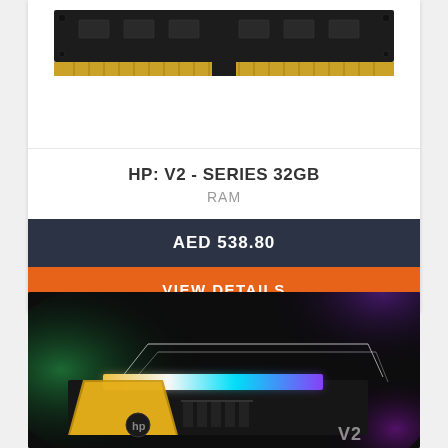[Figure (photo): HP V2 Series 32GB RAM module — a black PCB with gold connector pins, viewed from the top edge]
HP: V2 - SERIES 32GB
RAM
AED 538.80
VIEW DETAILS
[Figure (photo): Gaming RGB RAM module with colorful RGB lighting strip (yellow, white, cyan, purple gradient), black heatsink fins, on a dark cosmic green and purple background with diamond frame overlay]